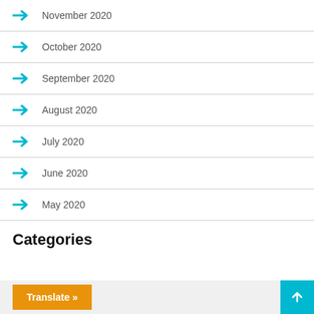November 2020
October 2020
September 2020
August 2020
July 2020
June 2020
May 2020
Categories